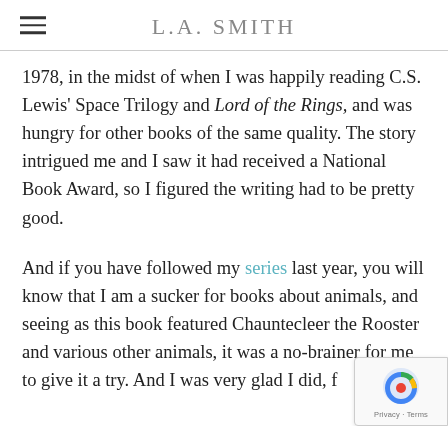L.A. SMITH
1978, in the midst of when I was happily reading C.S. Lewis' Space Trilogy and Lord of the Rings, and was hungry for other books of the same quality. The story intrigued me and I saw it had received a National Book Award, so I figured the writing had to be pretty good.
And if you have followed my series last year, you will know that I am a sucker for books about animals, and seeing as this book featured Chauntecleer the Rooster and various other animals, it was a no-brainer for me to give it a try. And I was very glad I did, f...